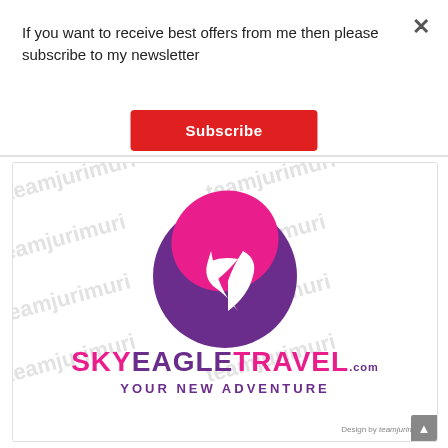If you want to receive best offers from me then please subscribe to my newsletter
×
Subscribe
[Figure (logo): SkyEagle Travel logo with a purple circle, pink/magenta eagle swooping, text 'SkyEagleTravel.com' and tagline 'Your New Adventure'. Watermark text 'teamjurimuri' repeated diagonally across the image. Bottom right: 'Design by teamjurimuri'.]